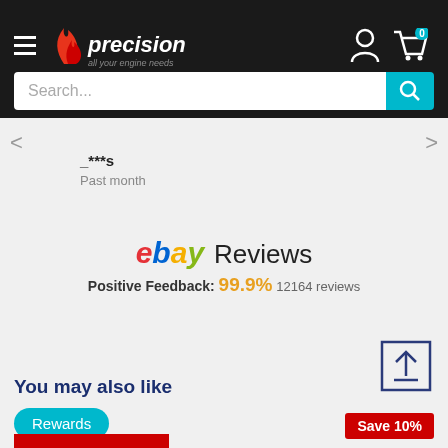[Figure (logo): Precision - all your engine needs logo with flame icon on black header bar]
Search...
_***s
Past month
[Figure (logo): eBay Reviews - Positive Feedback: 99.9% 12164 reviews]
Positive Feedback: 99.9% 12164 reviews
You may also like
Rewards
Save 10%